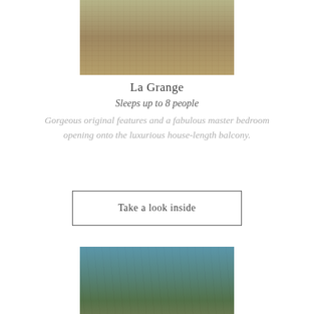[Figure (photo): Exterior photo of La Grange stone building with garden flowers in foreground]
La Grange
Sleeps up to 8 people
Gorgeous original features and a fabulous master bedroom opening onto the luxurious house-length balcony.
Take a look inside
[Figure (photo): Exterior photo of Le Petit stone building with blue sky and garden trees]
Le Petit